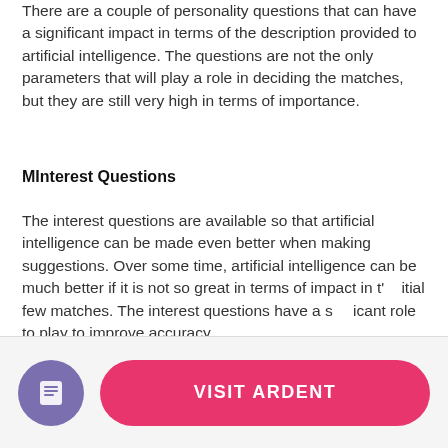There are a couple of personality questions that can have a significant impact in terms of the description provided to artificial intelligence. The questions are not the only parameters that will play a role in deciding the matches, but they are still very high in terms of importance.
MInterest Questions
The interest questions are available so that artificial intelligence can be made even better when making suggestions. Over some time, artificial intelligence can be much better if it is not so great in terms of impact in t'…itial few matches. The interest questions have a s…icant role to play to improve accuracy.
[Figure (other): Annotation overlay showing '29%' in red with a partial circle arc, overlaid on the body text]
[Figure (other): Footer bar with a purple circular icon containing a document symbol and a pink rounded 'VISIT ARDENT' button]